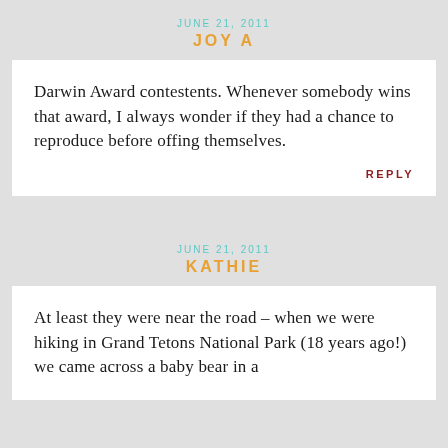JUNE 21, 2011
JOY A
Darwin Award contestents. Whenever somebody wins that award, I always wonder if they had a chance to reproduce before offing themselves.
REPLY
JUNE 21, 2011
KATHIE
At least they were near the road – when we were hiking in Grand Tetons National Park (18 years ago!) we came across a baby bear in a